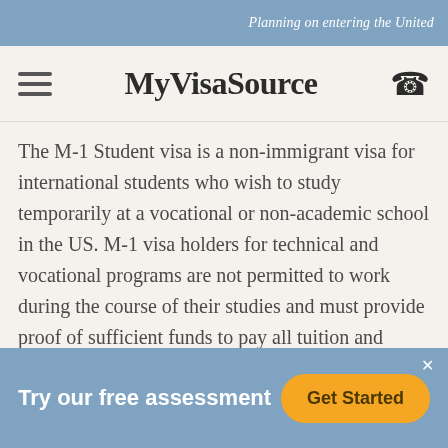Planning on entering the United
MyVisaSource
The M-1 Student visa is a non-immigrant visa for international students who wish to study temporarily at a vocational or non-academic school in the US. M-1 visa holders for technical and vocational programs are not permitted to work during the course of their studies and must provide proof of sufficient funds to pay all tuition and living costs for the length of their study
Try our free assessment
Get Started